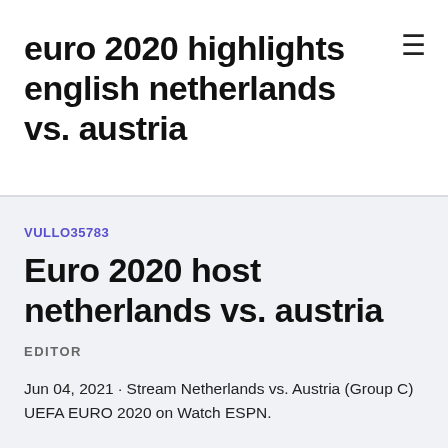euro 2020 highlights english netherlands vs. austria
VULLO35783
Euro 2020 host netherlands vs. austria
EDITOR
Jun 04, 2021 · Stream Netherlands vs. Austria (Group C) UEFA EURO 2020 on Watch ESPN.